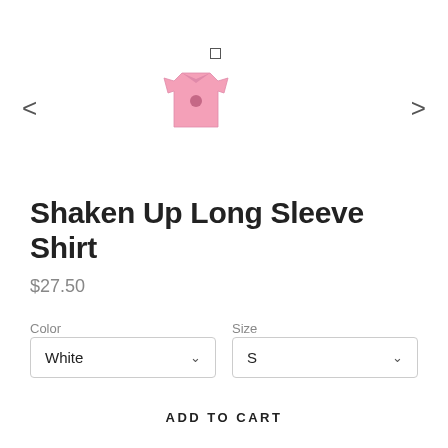[Figure (photo): Pink long sleeve shirt thumbnail with navigation arrows and a square dot indicator above it in a product image carousel]
Shaken Up Long Sleeve Shirt
$27.50
Color
White
Size
S
ADD TO CART